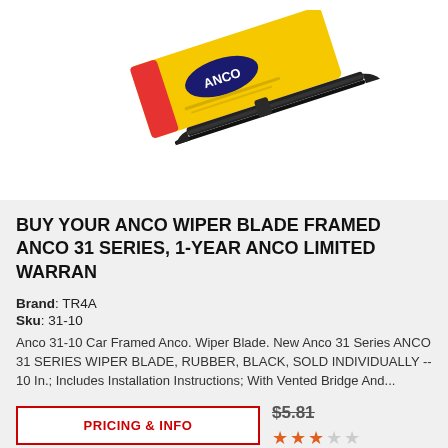[Figure (photo): Product photo of ANCO wiper blade — yellow branded packaging with black wiper arm/blade assembly]
BUY YOUR ANCO WIPER BLADE FRAMED ANCO 31 SERIES, 1-YEAR ANCO LIMITED WARRAN
Brand: TR4A
Sku: 31-10
Anco 31-10 Car Framed Anco. Wiper Blade. New Anco 31 Series ANCO 31 SERIES WIPER BLADE, RUBBER, BLACK, SOLD INDIVIDUALLY -- 10 In.; Includes Installation Instructions; With Vented Bridge And...
PRICING & INFO
$5.81
★★★☆☆ (3 out of 5 stars)